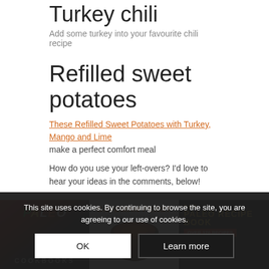Turkey chili
Add some turkey into your favourite chili recipe
Refilled sweet potatoes
These Refilled Sweet Potatoes with Turkey, Mango and Lime make a perfect comfort meal
How do you use your left-overs? I'd love to hear your ideas in the comments, below!
[Figure (photo): Three paleo cookbook covers side by side: Paleo Cookbooks, Caveman Feast (200+ Tantalizing Paleo Recipes), The Paleo Recipe Book (Over 370 Recipes)]
This site uses cookies. By continuing to browse the site, you are agreeing to our use of cookies.
OK  Learn more